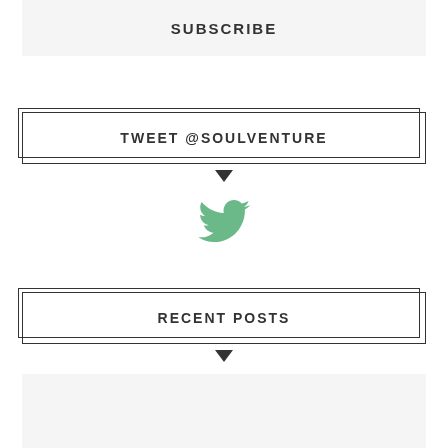SUBSCRIBE
TWEET @SOULVENTURE
[Figure (illustration): Green Twitter bird icon]
RECENT POSTS
[Figure (photo): Light gray image placeholder for recent posts]